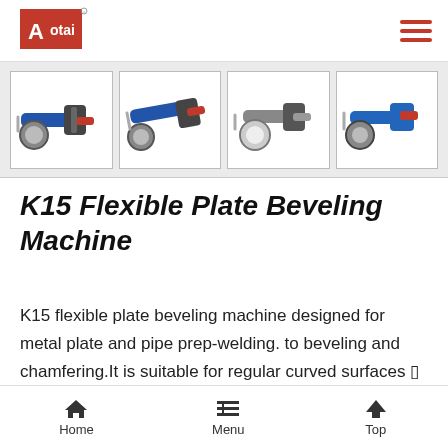Aotai logo and navigation menu
[Figure (photo): Four thumbnail images of the K15 Flexible Plate Beveling Machine shown from different angles]
K15 Flexible Plate Beveling Machine
K15 flexible plate beveling machine designed for metal plate and pipe prep-welding. to beveling and chamfering.It is suitable for regular curved surfaces such as outer circle, inner hole, waist hole, etc. and irregular inner and outer cavity edges. The chamfering
Home   Menu   Top